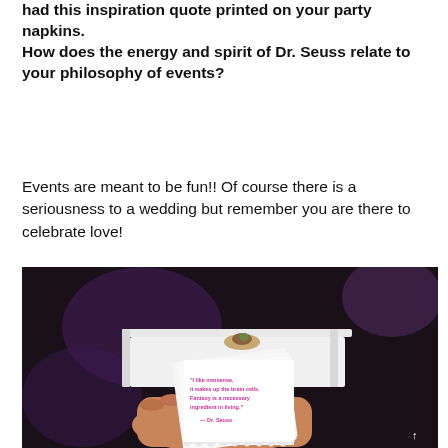had this inspiration quote printed on your party napkins. How does the energy and spirit of Dr. Seuss relate to your philosophy of events?
Events are meant to be fun!! Of course there is a seriousness to a wedding but remember you are there to celebrate love!
[Figure (photo): A hand holding a stack of white party napkins printed with a Dr. Seuss quote in pink/magenta text. In the background is a white serving tray with a small appetizer, against a dark blurred background with purple lighting.]